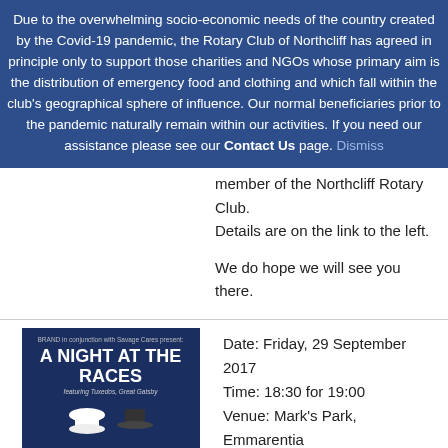Due to the overwhelming socio-economic needs of the country created by the Covid-19 pandemic, the Rotary Club of Northcliff has agreed in principle only to support those charities and NGOs whose primary aim is the distribution of emergency food and clothing and which fall within the club's geographical sphere of influence. Our normal beneficiaries prior to the pandemic naturally remain within our activities. If you need our assistance please see our Contact Us page. Dismiss
member of the Northcliff Rotary Club.
Details are on the link to the left.

We do hope we will see you there.
[Figure (illustration): Event poster for 'A Night at the Races' showing top hats and racing imagery on a dark blue background]
Date: Friday, 29 September 2017
Time: 18:30 for 19:00
Venue: Mark's Park, Emmarentia